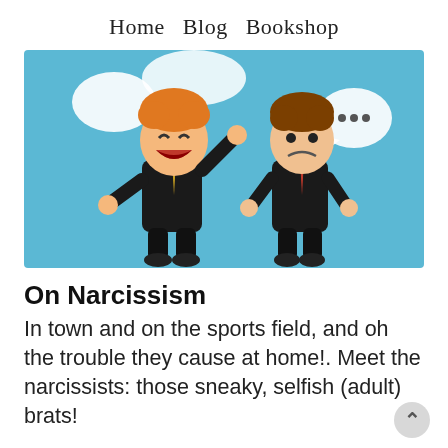Home   Blog   Bookshop
[Figure (illustration): Cartoon illustration of two business people: one with orange hair laughing and waving with speech bubbles, another with brown hair looking sad with a speech bubble containing ellipsis dots. Blue background.]
On Narcissism
In town and on the sports field, and oh the trouble they cause at home!. Meet the narcissists: those sneaky, selfish (adult) brats!